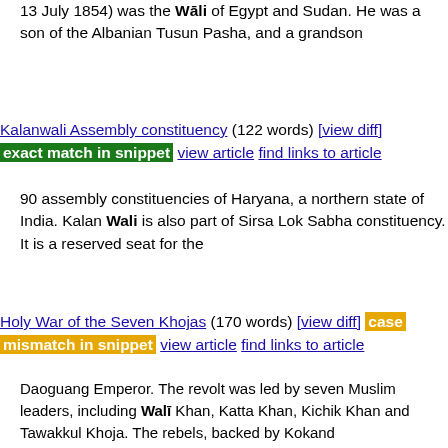13 July 1854) was the Wāli of Egypt and Sudan. He was a son of the Albanian Tusun Pasha, and a grandson
Kalanwali Assembly constituency (122 words) [view diff] exact match in snippet view article find links to article
90 assembly constituencies of Haryana, a northern state of India. Kalan Wali is also part of Sirsa Lok Sabha constituency. It is a reserved seat for the
Holy War of the Seven Khojas (170 words) [view diff] case mismatch in snippet view article find links to article
Daoguang Emperor. The revolt was led by seven Muslim leaders, including Walī Khan, Katta Khan, Kichik Khan and Tawakkul Khoja. The rebels, backed by Kokand
Pakistani Taliban (16,150 words) [view diff] exact match in snippet view article find links to article
Afghan–Pakistani border. Formed in 2007 by Baitullah Mehsud, its current leader is Noor Wali Mahsud, who has publicly pledged allegiance to